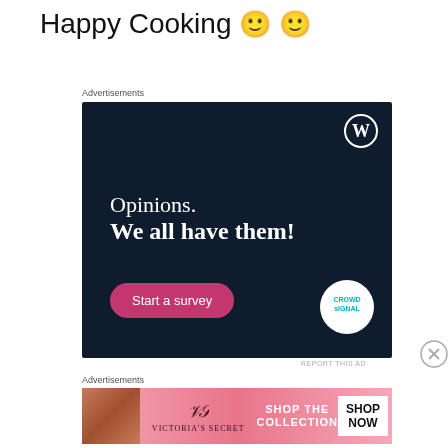Happy Cooking 🙂 🙂
Advertisements
[Figure (screenshot): Dark navy blue advertisement for CrowdSignal/WordPress with text 'Opinions. We all have them!', a pink 'Start a survey' button, WordPress logo in top right, and CrowdSignal circular logo in bottom right.]
REPORT THIS AD
Advertisements
[Figure (screenshot): Victoria's Secret pink banner advertisement showing a model on the left, Victoria's Secret logo in center, and 'SHOP THE COLLECTION' text with a 'SHOP NOW' white button on the right.]